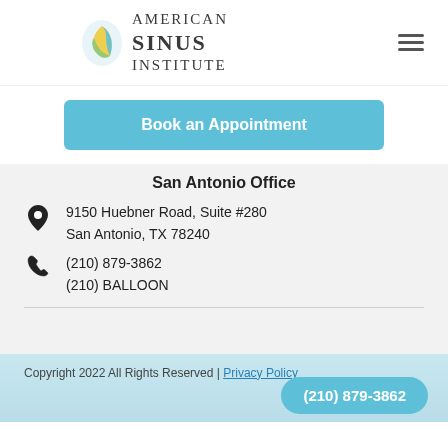[Figure (logo): American Sinus Institute logo with colorful leaf/face icon and text reading AMERICAN SINUS INSTITUTE]
Book an Appointment
San Antonio Office
9150 Huebner Road, Suite #280
San Antonio, TX 78240
(210) 879-3862
(210) BALLOON
Copyright 2022 All Rights Reserved | Privacy Policy
(210) 879-3862